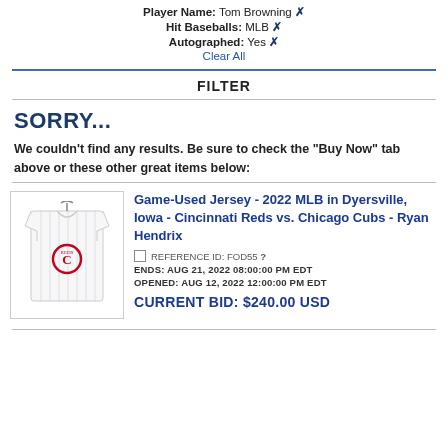Player Name: Tom Browning ✗
Hit Baseballs: MLB ✗
Autographed: Yes ✗
Clear All
FILTER
SORRY...
We couldn't find any results. Be sure to check the "Buy Now" tab above or these other great items below:
[Figure (photo): Photo of a white pinstripe baseball jersey with Cincinnati Reds logo on the chest, displayed on a hanger.]
Game-Used Jersey - 2022 MLB in Dyersville, Iowa - Cincinnati Reds vs. Chicago Cubs - Ryan Hendrix
□ REFERENCE ID: FOD55 ?
ENDS: AUG 21, 2022 08:00:00 PM EDT
OPENED: AUG 12, 2022 12:00:00 PM EDT
CURRENT BID: $240.00 USD